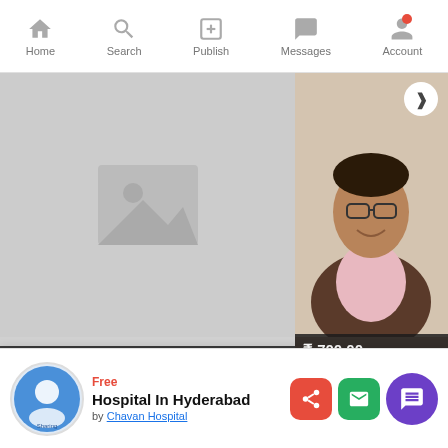Home | Search | Publish | Messages | Account
[Figure (screenshot): Left listing card with placeholder image, price 'Check with seller', title 'Best Occupational Therapy for Children in Noida']
[Figure (photo): Right listing card with photo of a man in a suit, price '₹ 700.00', title 'Best Weight Loss Guidance an...']
MayDayAds Communities Around the World.
[Figure (infographic): Three community buttons: WWW (globe icon), GBP (UK flag), UAE (UAE flag)]
Free
Hospital In Hyderabad
by Chavan Hospital